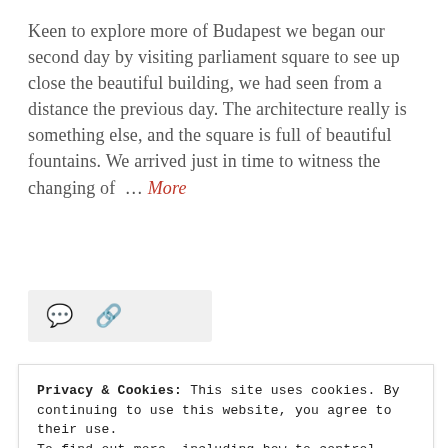Keen to explore more of Budapest we began our second day by visiting parliament square to see up close the beautiful building, we had seen from a distance the previous day. The architecture really is something else, and the square is full of beautiful fountains. We arrived just in time to witness the changing of … More
[Figure (other): Icon bar with comment bubble and link/share icons on a light grey background]
[Figure (photo): Partial photo strip visible at the bottom of the page, appears to be an outdoor/architectural scene]
Privacy & Cookies: This site uses cookies. By continuing to use this website, you agree to their use.
To find out more, including how to control cookies, see here: Cookie Policy
Close and accept